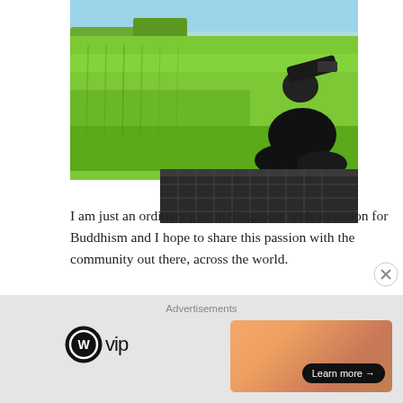[Figure (photo): Person dressed in black sitting on a metal grate/platform, photographing a lush green rice paddy field with a camera. Rural landscape with blue sky in background.]
I am just an ordinary guy in Singapore with a passion for Buddhism and I hope to share this passion with the community out there, across the world.
SUBSCRIBE TO BLOG VIA EMAIL
[Figure (advertisement): WordPress VIP advertisement with logo on left and orange/salmon gradient banner with 'Learn more →' button on right.]